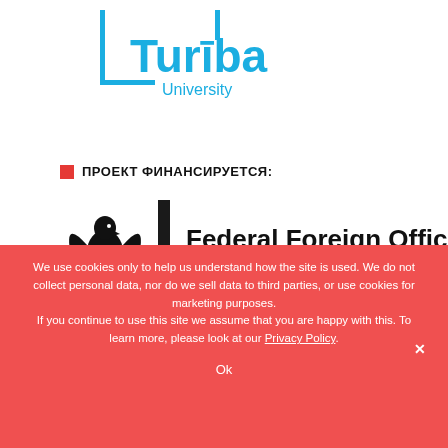[Figure (logo): Turiba University logo in blue]
ПРОЕКТ ФИНАНСИРУЕТСЯ:
[Figure (logo): Federal Foreign Office logo with German eagle, vertical German flag stripe (black, red, gold), and text 'Federal Foreign Office']
We use cookies only to help us understand how the site is used. We do not collect personal data, nor do we sell data to third parties, or use cookies for marketing purposes.
If you continue to use this site we assume that you are happy with this. To learn more, please look at our Privacy Policy.
Ok